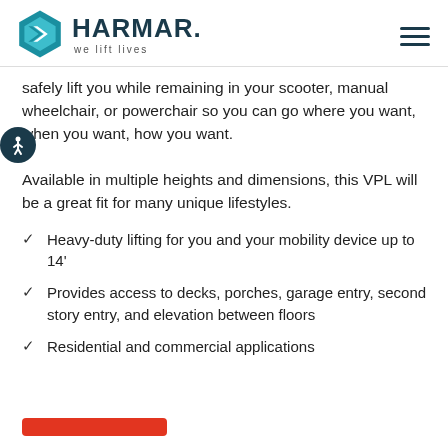HARMAR — we lift lives
safely lift you while remaining in your scooter, manual wheelchair, or powerchair so you can go where you want, when you want, how you want. Available in multiple heights and dimensions, this VPL will be a great fit for many unique lifestyles.
Heavy-duty lifting for you and your mobility device up to 14'
Provides access to decks, porches, garage entry, second story entry, and elevation between floors
Residential and commercial applications